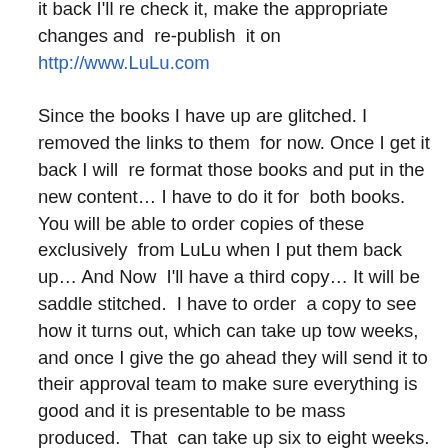it back I'll re check it, make the appropriate changes and re-publish it on http://www.LuLu.com

Since the books I have up are glitched. I removed the links to them for now. Once I get it back I will re format those books and put in the new content… I have to do it for both books. You will be able to order copies of these exclusively from LuLu when I put them back up… And Now I'll have a third copy… It will be saddle stitched. I have to order a copy to see how it turns out, which can take up tow weeks, and once I give the go ahead they will send it to their approval team to make sure everything is good and it is presentable to be mass produced. That can take up six to eight weeks. EEk! Once it is approved, which I know it will be, The book will be available for sale and at more then the two places. I am so excited and